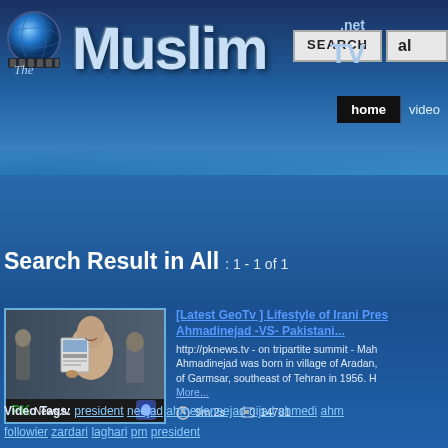[Figure (screenshot): TheMuslim.net TV website header with globe logo and navigation buttons including SEARCH, home, video]
Search Result in All : 1 - 1 of 1
[Figure (screenshot): Video thumbnail showing man holding document, PK News.tv logo]
[Latest GeoTv ] Lifestyle of Irani President Ahmadinejad -VS- Pakistani...
http://pknews.tv - on tripartite summit - Mahmoud Ahmadinejad was born in village of Aradan, near of Garmsar, southeast of Tehran in 1956. H... More...
9m:2s   14781
Video Tags: president neejad ahmedeneejad nijad ahmedi ahm... followier zardari laghari pm president